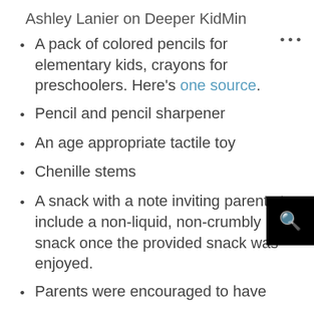Ashley Lanier on Deeper KidMin
A pack of colored pencils for elementary kids, crayons for preschoolers. Here's one source.
Pencil and pencil sharpener
An age appropriate tactile toy
Chenille stems
A snack with a note inviting parents to include a non-liquid, non-crumbly snack once the provided snack was enjoyed.
Parents were encouraged to have